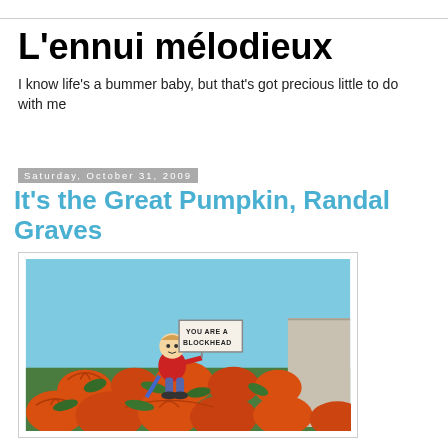L'ennui mélodieux
I know life's a bummer baby, but that's got precious little to do with me
Saturday, October 31, 2009
It's the Great Pumpkin, Randal Graves
[Figure (illustration): Cartoon illustration of Linus from Peanuts standing in a pumpkin patch holding a sign that reads 'YOU ARE A BLOCKHEAD']